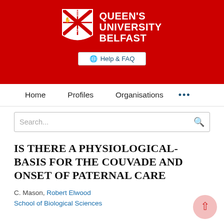[Figure (logo): Queen's University Belfast logo with red banner, shield crest on left and university name text on right in white on red background]
Help & FAQ
Home   Profiles   Organisations   ...
Search...
IS THERE A PHYSIOLOGICAL-BASIS FOR THE COUVADE AND ONSET OF PATERNAL CARE
C. Mason, Robert Elwood
School of Biological Sciences